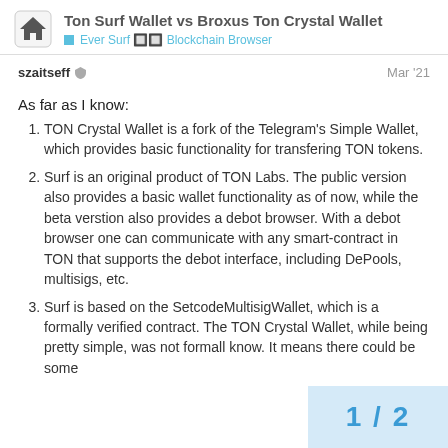Ton Surf Wallet vs Broxus Ton Crystal Wallet — Ever Surf 🔲 Blockchain Browser
szaitseff 🛡  Mar '21
As far as I know:
TON Crystal Wallet is a fork of the Telegram's Simple Wallet, which provides basic functionality for transfering TON tokens.
Surf is an original product of TON Labs. The public version also provides a basic wallet functionality as of now, while the beta verstion also provides a debot browser. With a debot browser one can communicate with any smart-contract in TON that supports the debot interface, including DePools, multisigs, etc.
Surf is based on the SetcodeMultisigWallet, which is a formally verified contract. The TON Crystal Wallet, while being pretty simple, was not formall know. It means there could be some
1 / 2